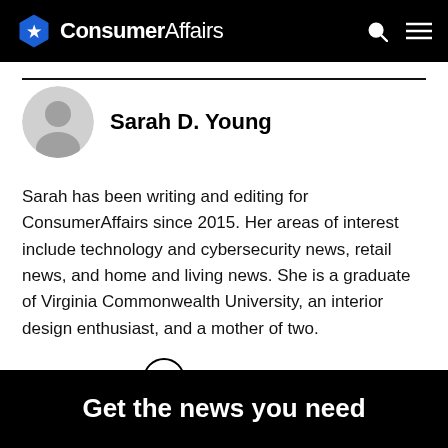ConsumerAffairs
Sarah D. Young
Sarah has been writing and editing for ConsumerAffairs since 2015. Her areas of interest include technology and cybersecurity news, retail news, and home and living news. She is a graduate of Virginia Commonwealth University, an interior design enthusiast, and a mother of two.
Read Full Bio →
Get the news you need